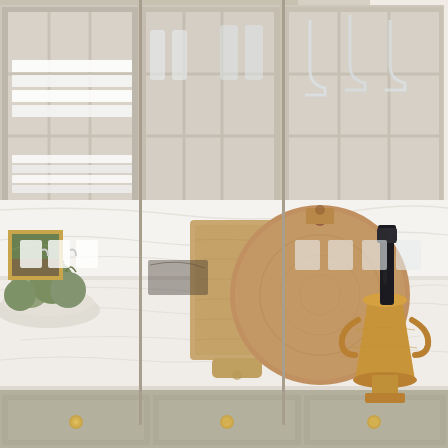[Figure (photo): Interior kitchen photo showing cream/taupe shaker-style upper cabinets with glass grid doors and brass knobs, displaying white plates, cups, and glassware. Below is a white marble backsplash and countertop. On the counter sits a bowl of artichokes, two wooden cutting boards (rectangular and round), a small gold-framed landscape painting, and a brass champagne bucket with a dark bottle. Lower cabinets are taupe/sage with brass hardware. The overall aesthetic is elegant and neutral-toned.]